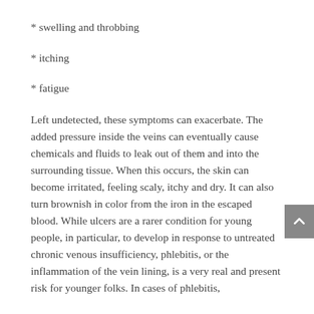* swelling and throbbing
* itching
* fatigue
Left undetected, these symptoms can exacerbate. The added pressure inside the veins can eventually cause chemicals and fluids to leak out of them and into the surrounding tissue. When this occurs, the skin can become irritated, feeling scaly, itchy and dry. It can also turn brownish in color from the iron in the escaped blood. While ulcers are a rarer condition for young people, in particular, to develop in response to untreated chronic venous insufficiency, phlebitis, or the inflammation of the vein lining, is a very real and present risk for younger folks. In cases of phlebitis,